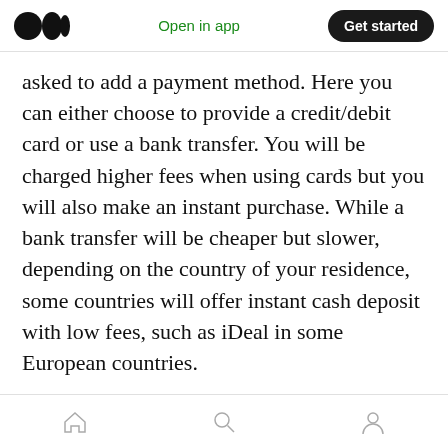Open in app  Get started
asked to add a payment method. Here you can either choose to provide a credit/debit card or use a bank transfer. You will be charged higher fees when using cards but you will also make an instant purchase. While a bank transfer will be cheaper but slower, depending on the country of your residence, some countries will offer instant cash deposit with low fees, such as iDeal in some European countries.
Now you are all set, click the ‘Trade’ button at the top left, choose the coin you want to buy and confirm your transaction and congrats! You’ve
Home  Search  Profile